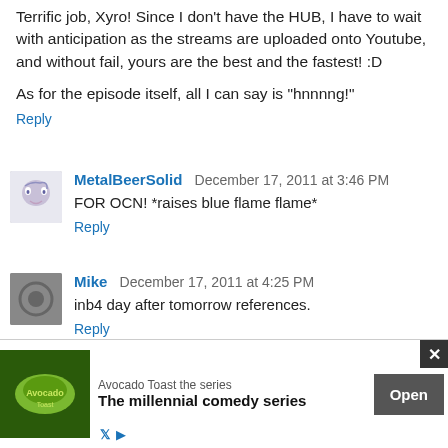Terrific job, Xyro! Since I don't have the HUB, I have to wait with anticipation as the streams are uploaded onto Youtube, and without fail, yours are the best and the fastest! :D
As for the episode itself, all I can say is "hnnnng!"
Reply
MetalBeerSolid  December 17, 2011 at 3:46 PM
FOR OCN! *raises blue flame flame*
Reply
Mike  December 17, 2011 at 4:25 PM
inb4 day after tomorrow references.
Reply
God  December 17, 2011 at 4:28 PM
om the
Punkmonkey says that the planet is round.
[Figure (infographic): Advertisement banner: Avocado Toast the series - The millennial comedy series, with Open button and close X button]